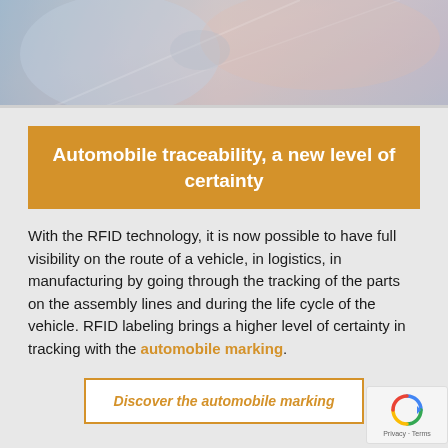[Figure (photo): Blurred motion photo of automobile/vehicle dashboard or parts, blue and warm tones, suggesting speed and technology]
Automobile traceability, a new level of certainty
With the RFID technology, it is now possible to have full visibility on the route of a vehicle, in logistics, in manufacturing by going through the tracking of the parts on the assembly lines and during the life cycle of the vehicle. RFID labeling brings a higher level of certainty in tracking with the automobile marking.
Discover the automobile marking